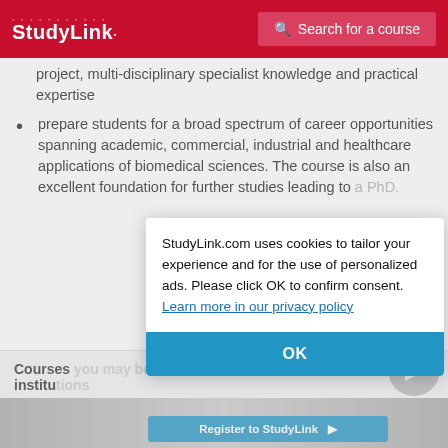StudyLink | Search for a course
project, multi‑disciplinary specialist knowledge and practical expertise
prepare students for a broad spectrum of career opportunities spanning academic, commercial, industrial and healthcare applications of biomedical sciences. The course is also an excellent foundation for further studies leading to a PhD.
Courses you may be interested in at other institutions
StudyLink.com uses cookies to tailor your experience and for the use of personalized ads. Please click OK to confirm consent. Learn more in our privacy policy
OK